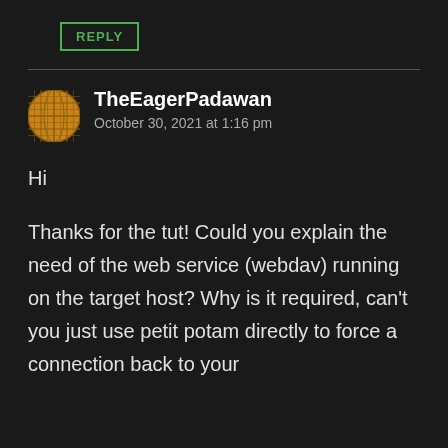REPLY
TheEagerPadawan
October 30, 2021 at 1:16 pm
Hi
Thanks for the tut! Could you explain the need of the web service (webdav) running on the target host? Why is it required, can't you just use petit potam directly to force a connection back to your